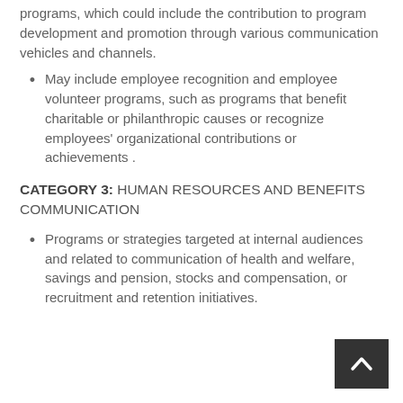programs, which could include the contribution to program development and promotion through various communication vehicles and channels.
May include employee recognition and employee volunteer programs, such as programs that benefit charitable or philanthropic causes or recognize employees' organizational contributions or achievements .
CATEGORY 3: HUMAN RESOURCES AND BENEFITS COMMUNICATION
Programs or strategies targeted at internal audiences and related to communication of health and welfare, savings and pension, stocks and compensation, or recruitment and retention initiatives.